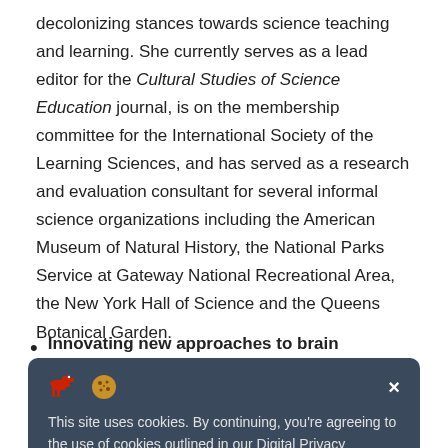decolonizing stances towards science teaching and learning. She currently serves as a lead editor for the Cultural Studies of Science Education journal, is on the membership committee for the International Society of the Learning Sciences, and has served as a research and evaluation consultant for several informal science organizations including the American Museum of Natural History, the National Parks Service at Gateway National Recreational Area, the New York Hall of Science and the Queens Botanical Garden.
Innovating new approaches to brain imaging: Ashley
[Figure (screenshot): Cookie consent overlay on dark blue-gray background with dinosaur and cookie emoji icons, close button (×), and text: 'This site uses cookies. By continuing, you're agreeing to the use of cookies outlined in our Digital Privacy Statement.']